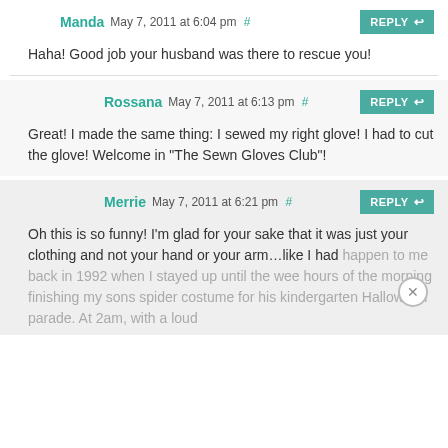Manda May 7, 2011 at 6:04 pm #
Haha! Good job your husband was there to rescue you!
Rossana May 7, 2011 at 6:13 pm #
Great! I made the same thing: I sewed my right glove! I had to cut the glove! Welcome in "The Sewn Gloves Club"!
Merrie May 7, 2011 at 6:21 pm #
Oh this is so funny! I'm glad for your sake that it was just your clothing and not your hand or your arm…like I had happen to me back in 1992 when I stayed up until the wee hours of the morning finishing my sons spider costume for his kindergarten Halloween parade. At 2am, with a loud